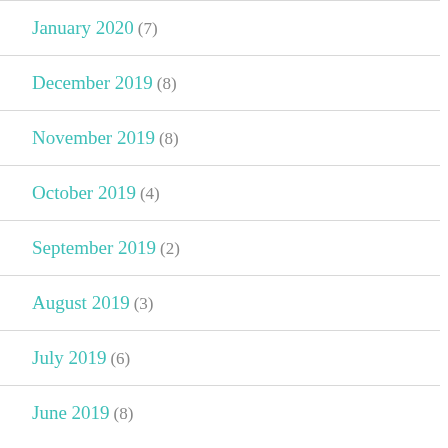January 2020 (7)
December 2019 (8)
November 2019 (8)
October 2019 (4)
September 2019 (2)
August 2019 (3)
July 2019 (6)
June 2019 (8)